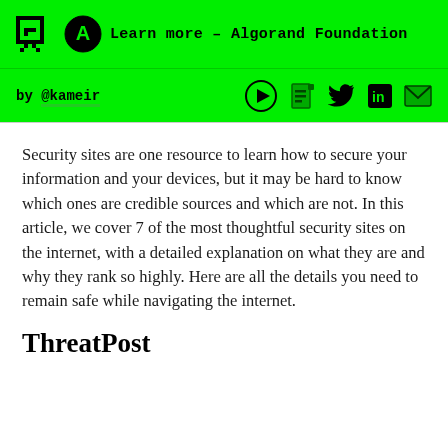Learn more – Algorand Foundation
by @kameir
Security sites are one resource to learn how to secure your information and your devices, but it may be hard to know which ones are credible sources and which are not. In this article, we cover 7 of the most thoughtful security sites on the internet, with a detailed explanation on what they are and why they rank so highly. Here are all the details you need to remain safe while navigating the internet.
ThreatPost